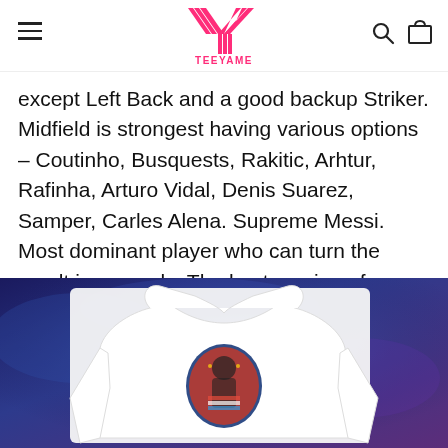TEEYAME
except Left Back and a good backup Striker. Midfield is strongest having various options – Coutinho, Busquests, Rakitic, Arhtur, Rafinha, Arturo Vidal, Denis Suarez, Samper, Carles Alena. Supreme Messi. Most dominant player who can turn the result in seconds. The best version of Messi. He is doing everything perfect. Creating chances, goal scoring, assists, build up and everything. He is the one most who prioritises the aim.
[Figure (photo): Product photo of a white hoodie/sweatshirt displayed on a model against a blue/purple cosmic background, with a graphic print on the chest area.]